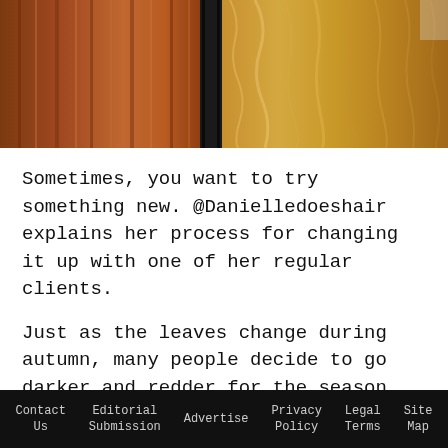[Figure (photo): Two side-by-side hair photos: left side showing straight auburn/copper red hair, right side showing wavy golden blonde/honey highlighted hair, split by a dark divider]
Sometimes, you want to try something new. @Danielledoeshair explains her process for changing it up with one of her regular clients.
Just as the leaves change during autumn, many people decide to go darker and redder for the season. Danielle Fusco specializes in red hair, so she knows the difficulty of adding dimension and lightening reds! @danielledoeshair created this stunning dimensional vision with an arsenal of
Contact Us   Editorial Submission   Advertise   Privacy Policy   Legal Terms   Site Map